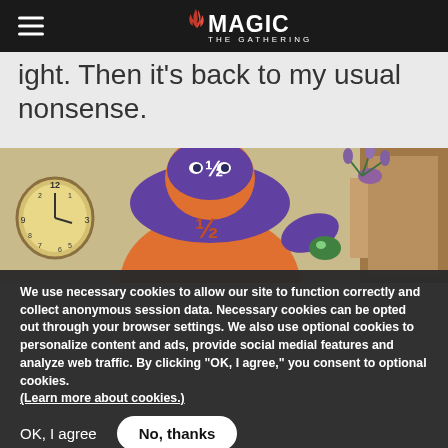Magic: The Gathering navigation bar with hamburger menu and logo
ight. Then it's back to my usual nonsense.
Fraction Packed
[Figure (illustration): Illustration of a superhero character in orange and purple costume with a half-fraction symbol on mask, holding a green gem, with a clock and purple plant in background]
We use necessary cookies to allow our site to function correctly and collect anonymous session data. Necessary cookies can be opted out through your browser settings. We also use optional cookies to personalize content and ads, provide social medial features and analyze web traffic. By clicking “OK, I agree,” you consent to optional cookies. (Learn more about cookies.)